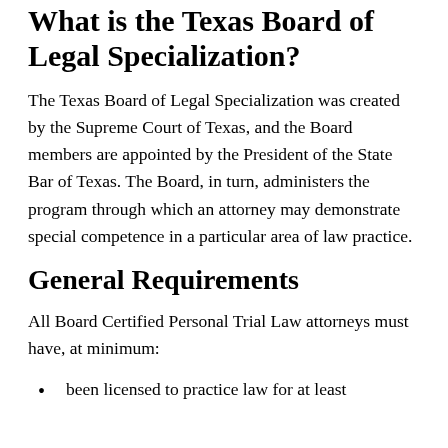What is the Texas Board of Legal Specialization?
The Texas Board of Legal Specialization was created by the Supreme Court of Texas, and the Board members are appointed by the President of the State Bar of Texas. The Board, in turn, administers the program through which an attorney may demonstrate special competence in a particular area of law practice.
General Requirements
All Board Certified Personal Trial Law attorneys must have, at minimum:
been licensed to practice law for at least